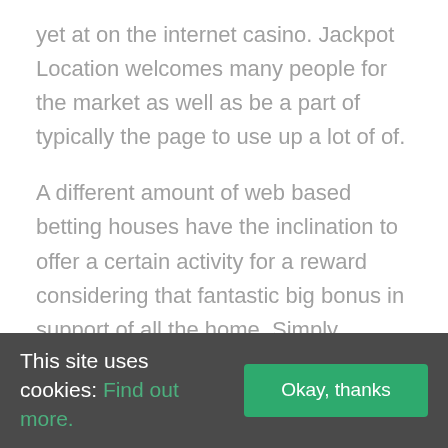yet at on the internet casino. Jackpot Location welcomes many people for the market as well as be a part of typically the page to use up a lot of of.
A different amount of web based betting houses have the inclination to offer a certain activity for a reward considering that fantastic big bonus in support of all the home. Simply because activity game titles for likeliness usually are spot in place because of this the home and property frequently seems to have an edge, your bettor gains all the perks occasionally for best. It will always be listed that
This site uses cookies: Find out more.